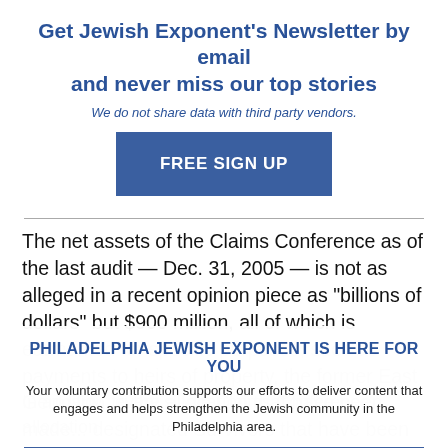Get Jewish Exponent's Newsletter by email and never miss our top stories
We do not share data with third party vendors.
[Figure (other): FREE SIGN UP button (blue rectangle)]
The net assets of the Claims Conference as of the last audit — Dec. 31, 2005 — is not as alleged in a recent opinion piece as "billions of dollars" but $900 million, all of which is earmarked for specific purposes, such as payments to heirs of property, the former East Germany, to the allocation that have been made... designated Survivors victims of Nazism.
PHILADELPHIA JEWISH EXPONENT IS HERE FOR YOU
Your voluntary contribution supports our efforts to deliver content that engages and helps strengthen the Jewish community in the Philadelphia area.
[Figure (other): CONTRIBUTE button (blue rectangle)]
In addition, every single Claims Conference allocation